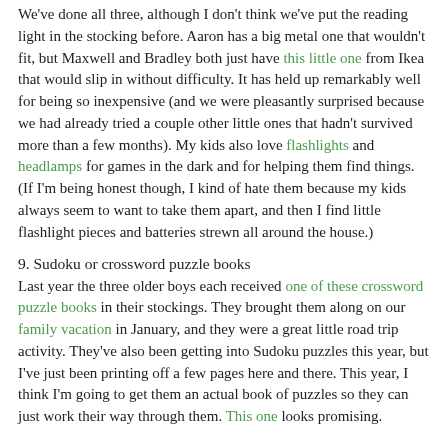We've done all three, although I don't think we've put the reading light in the stocking before. Aaron has a big metal one that wouldn't fit, but Maxwell and Bradley both just have this little one from Ikea that would slip in without difficulty. It has held up remarkably well for being so inexpensive (and we were pleasantly surprised because we had already tried a couple other little ones that hadn't survived more than a few months). My kids also love flashlights and headlamps for games in the dark and for helping them find things. (If I'm being honest though, I kind of hate them because my kids always seem to want to take them apart, and then I find little flashlight pieces and batteries strewn all around the house.)
9. Sudoku or crossword puzzle books
Last year the three older boys each received one of these crossword puzzle books in their stockings. They brought them along on our family vacation in January, and they were a great little road trip activity. They've also been getting into Sudoku puzzles this year, but I've just been printing off a few pages here and there. This year, I think I'm going to get them an actual book of puzzles so they can just work their way through them. This one looks promising.